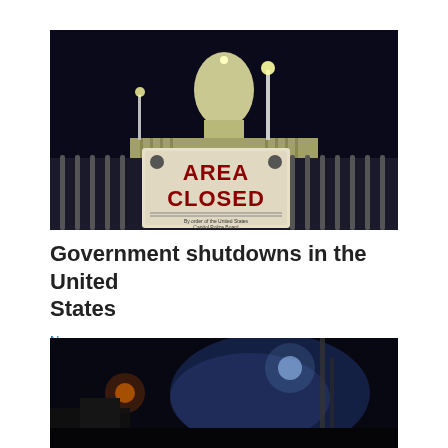[Figure (photo): Night photo of the US Capitol building with a metal fence barrier in the foreground displaying a large 'AREA CLOSED - By order of the United States Capitol Police Board' sign]
Government shutdowns in the United States
News
[Figure (photo): Night photo showing a dark scene with lights and what appears to be a foggy or smoky outdoor area]